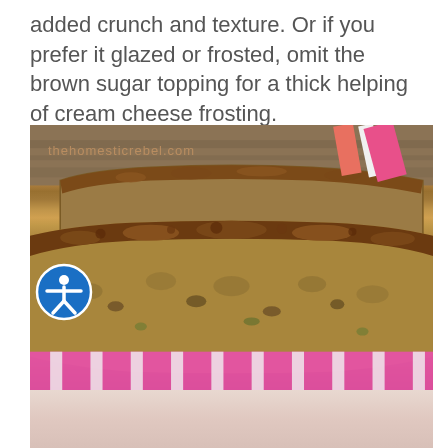added crunch and texture. Or if you prefer it glazed or frosted, omit the brown sugar topping for a thick helping of cream cheese frosting.
[Figure (photo): Close-up photo of a slice of zucchini bread with brown sugar crumble topping, served in a pink striped cupcake liner. The bread shows a moist, dense crumb with visible nuts and zucchini pieces. A watermark reading 'thehomesticrebel.com' appears in the upper left of the photo. An accessibility icon (blue circle with white person figure) overlaps the left side of the photo.]